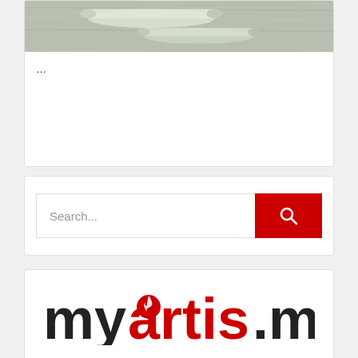[Figure (photo): Photo of rolled paper or similar items on a wooden surface]
...
Search...
[Figure (logo): myartis.my logo with red and black text and flame icon]